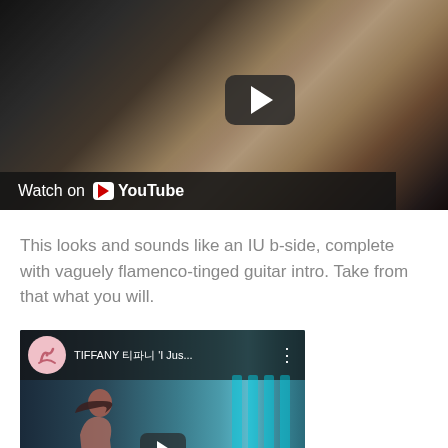[Figure (screenshot): YouTube video thumbnail showing a young woman with dark hair, a play button overlay in the center, and a 'Watch on YouTube' bar at the bottom left]
This looks and sounds like an IU b-side, complete with vaguely flamenco-tinged guitar intro. Take from that what you will.
[Figure (screenshot): YouTube embedded video player showing 'TIFFANY 티파니 I Jus...' with a channel icon, title bar, and play button over a teal/blue background with a woman's profile silhouette]